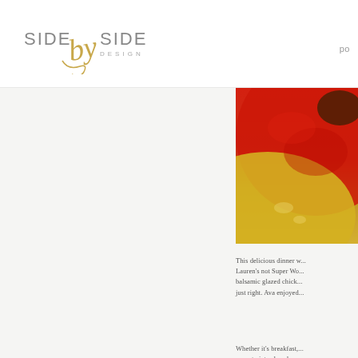SIDE by SIDE DESIGN   po
[Figure (photo): Close-up photo of food — appears to be a balsamic glazed chicken dish with red and yellow colors]
This delicious dinner w... Lauren’s not Super Wo... balsamic glazed chick... just right. Ava enjoyed...
Whether it’s breakfast,... ways to introduce hea... from you. Post a comm...